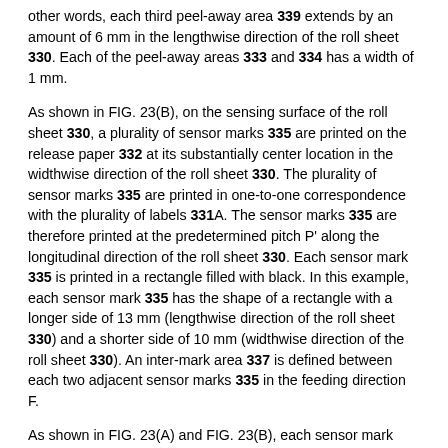other words, each third peel-away area 339 extends by an amount of 6 mm in the lengthwise direction of the roll sheet 330. Each of the peel-away areas 333 and 334 has a width of 1 mm.
As shown in FIG. 23(B), on the sensing surface of the roll sheet 330, a plurality of sensor marks 335 are printed on the release paper 332 at its substantially center location in the widthwise direction of the roll sheet 330. The plurality of sensor marks 335 are printed in one-to-one correspondence with the plurality of labels 331A. The sensor marks 335 are therefore printed at the predetermined pitch P' along the longitudinal direction of the roll sheet 330. Each sensor mark 335 is printed in a rectangle filled with black. In this example, each sensor mark 335 has the shape of a rectangle with a longer side of 13 mm (lengthwise direction of the roll sheet 330) and a shorter side of 10 mm (widthwise direction of the roll sheet 330). An inter-mark area 337 is defined between each two adjacent sensor marks 335 in the feeding direction F.
As shown in FIG. 23(A) and FIG. 23(B), each sensor mark 335 is located with its entire area being located within the corresponding label 331A. More specifically, each sensor mark 335 is located at such a position that no part of the sensor mark 335 is located on any parts of the peel-away area 333, 334, or 339, but the entire part of the sensor mark 335 is located on a corresponding recording label 331A. Accordingly, similarly to the sensor mark 325 in the third example, the sensor mark 335 can exhibit the uniform